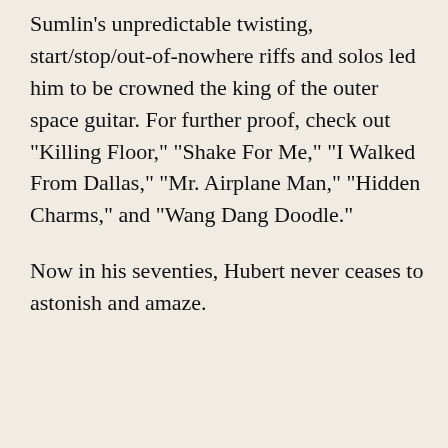Sumlin's unpredictable twisting, start/stop/out-of-nowhere riffs and solos led him to be crowned the king of the outer space guitar. For further proof, check out "Killing Floor," "Shake For Me," "I Walked From Dallas," "Mr. Airplane Man," "Hidden Charms," and "Wang Dang Doodle."
Now in his seventies, Hubert never ceases to astonish and amaze.
[Figure (other): A golden/tan button with left-pointing arrow and white bold text reading '← ARTISTS']
[Figure (other): A blue Facebook 'Share' button with Facebook icon and white bold text reading 'Share 1']